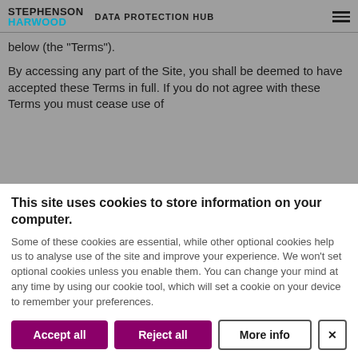STEPHENSON HARWOOD DATA PROTECTION HUB
below (the "Terms").
By accessing any part of the Site, you shall be deemed to have accepted these Terms in full. If you do not agree with these Terms you must cease use of
This site uses cookies to store information on your computer.
Some of these cookies are essential, while other optional cookies help us to analyse use of the site and improve your experience. We won't set optional cookies unless you enable them. You can change your mind at any time by using our cookie tool, which will set a cookie on your device to remember your preferences.
Accept all | Reject all | More info | X